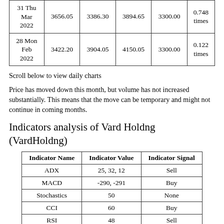| Date | Price | Col3 | Col4 | Col5 | Ratio |
| --- | --- | --- | --- | --- | --- |
| 31 Thu Mar 2022 | 3656.05 | 3386.30 | 3894.65 | 3300.00 | 0.748 times |
| 28 Mon Feb 2022 | 3422.20 | 3904.05 | 4150.05 | 3300.00 | 0.122 times |
Scroll below to view daily charts
Price has moved down this month, but volume has not increased substantially. This means that the move can be temporary and might not continue in coming months.
Indicators analysis of Vard Holdng (VardHoldng)
| Indicator Name | Indicator Value | Indicator Signal |
| --- | --- | --- |
| ADX | 25, 32, 12 | Sell |
| MACD | -290, -291 | Buy |
| Stochastics | 50 | None |
| CCI | 60 | Buy |
| RSI | 48 | Sell |
| OBV | -1226 | Sell |